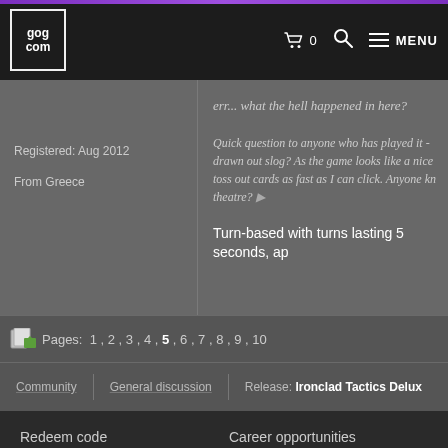GOG.COM — Navigation bar with cart (0), search, and MENU
Registered: Aug 2012
From Greece
err... what the hell happened in here?
Quick question to anyone who has played it - drawn out slog? As the game looks like a nice toss out cards as fast as I can click. Anyone kn theatre?
Turn-based with turns lasting 5 seconds, ap
Pages: 1 , 2 , 3 , 4 , 5 , 6 , 7 , 8 , 9 , 10
Community   General discussion   Release: Ironclad Tactics Delux
Redeem code
Career opportunities
GOG Connect
Submit your game
Contact us
Blog